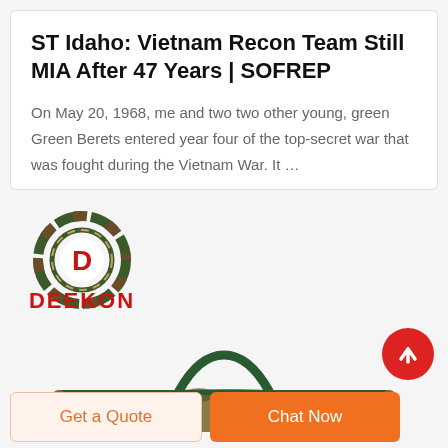ST Idaho: Vietnam Recon Team Still MIA After 47 Years | SOFREP
On May 20, 1968, me and two two other young, green Green Berets entered year four of the top-secret war that was fought during the Vietnam War. It …
[Figure (logo): DEEKON logo with camouflage circular emblem and red text]
[Figure (photo): Camouflage military duffel bag with green handles, partially visible]
Get a Quote
Chat Now